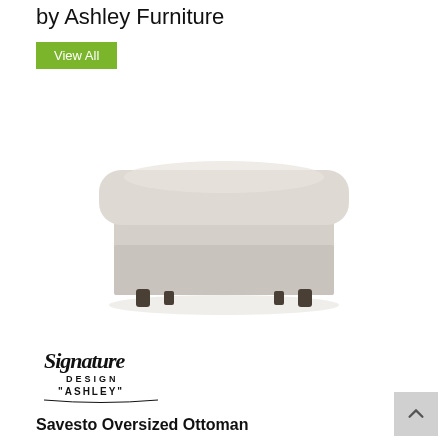by Ashley Furniture
View All
[Figure (photo): A beige/cream oversized square ottoman with a plush cushion top and four small dark feet, photographed on a white background.]
[Figure (logo): Signature Design by Ashley logo in black script and print text]
Savesto Oversized Ottoman